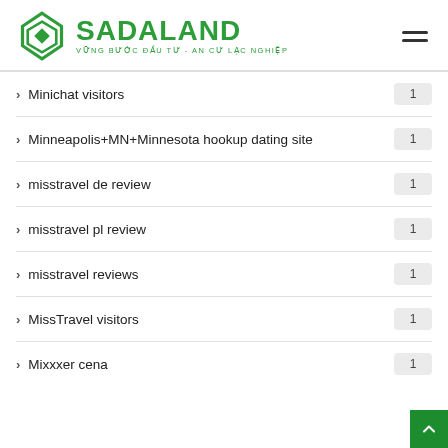SADALAND – VỮNG BƯỚC ĐẦU TƯ - AN CƯ LẠC NGHIỆP
Minichat visitors – 1
Minneapolis+MN+Minnesota hookup dating site – 1
misstravel de review – 1
misstravel pl review – 1
misstravel reviews – 1
MissTravel visitors – 1
Mixxxer cena – 1